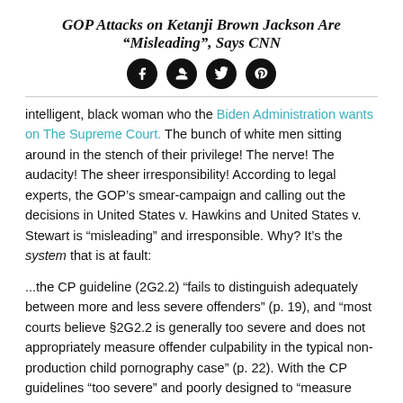GOP Attacks on Ketanji Brown Jackson Are “Misleading”, Says CNN
[Figure (infographic): Four social media share icons (Facebook, Google+, Twitter, Pinterest) as dark circular buttons in a row]
intelligent, black woman who the Biden Administration wants on The Supreme Court. The bunch of white men sitting around in the stench of their privilege! The nerve! The audacity! The sheer irresponsibility! According to legal experts, the GOP’s smear-campaign and calling out the decisions in United States v. Hawkins and United States v. Stewart is “misleading” and irresponsible. Why? It’s the system that is at fault:
...the CP guideline (2G2.2) “fails to distinguish adequately between more and less severe offenders” (p. 19), and “most courts believe §2G2.2 is generally too severe and does not appropriately measure offender culpability in the typical non-production child pornography case” (p. 22). With the CP guidelines “too severe” and poorly designed to “measure offender culpability” in the digital age, federal